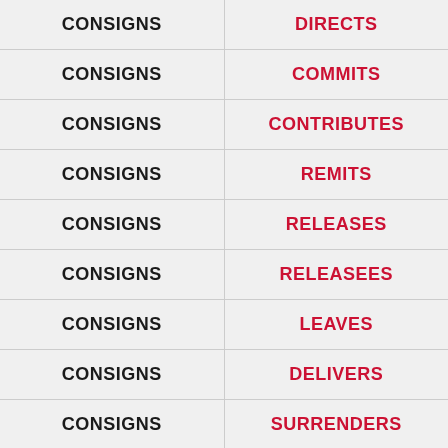| CONSIGNS | DIRECTS |
| CONSIGNS | COMMITS |
| CONSIGNS | CONTRIBUTES |
| CONSIGNS | REMITS |
| CONSIGNS | RELEASES |
| CONSIGNS | RELEASEES |
| CONSIGNS | LEAVES |
| CONSIGNS | DELIVERS |
| CONSIGNS | SURRENDERS |